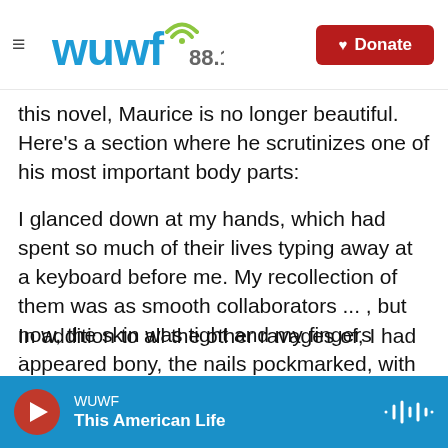WUWF 88.1 — Donate
this novel, Maurice is no longer beautiful. Here's a section where he scrutinizes one of his most important body parts:
I glanced down at my hands, which had spent so much of their lives typing away at a keyboard before me. My recollection of them was as smooth collaborators ... , but now, the skin was tight and my fingers appeared bony, the nails pockmarked, with large semicircles spreading outward from the cuticles, like slowly exploding planets. I was growing old, it was clear, and not gracefully.
In addition to all the other ravages of...
WUWF — This American Life